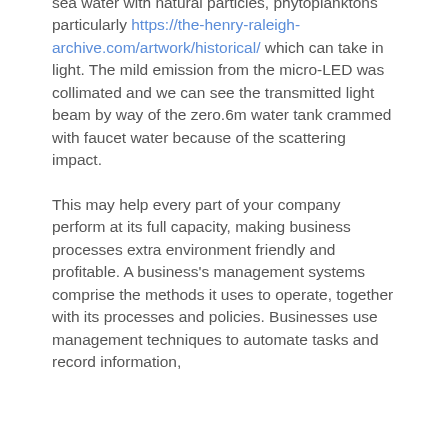sea water with natural particles, phytoplanktons particularly https://the-henry-raleigh-archive.com/artwork/historical/ which can take in light. The mild emission from the micro-LED was collimated and we can see the transmitted light beam by way of the zero.6m water tank crammed with faucet water because of the scattering impact.
This may help every part of your company perform at its full capacity, making business processes extra environment friendly and profitable. A business's management systems comprise the methods it uses to operate, together with its processes and policies. Businesses use management techniques to automate tasks and record information,